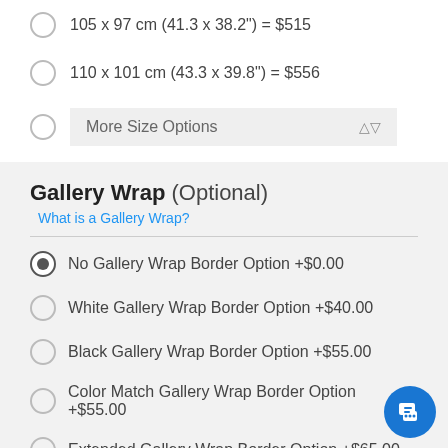105 x 97 cm (41.3 x 38.2") = $515
110 x 101 cm (43.3 x 39.8") = $556
More Size Options
Gallery Wrap (Optional)
What is a Gallery Wrap?
No Gallery Wrap Border Option +$0.00
White Gallery Wrap Border Option +$40.00
Black Gallery Wrap Border Option +$55.00
Color Match Gallery Wrap Border Option +$55.00
Extended Gallery Wrap Border Option +$65.00